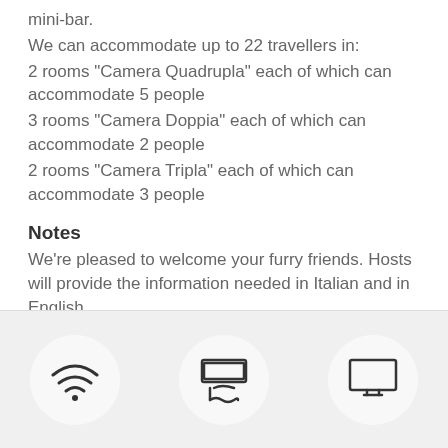mini-bar.
We can accommodate up to 22 travellers in:
2 rooms "Camera Quadrupla" each of which can accommodate 5 people
3 rooms "Camera Doppia" each of which can accommodate 2 people
2 rooms "Camera Tripla" each of which can accommodate 3 people
Notes
We're pleased to welcome your furry friends. Hosts will provide the information needed in Italian and in English.
[Figure (infographic): Three icons in circles on a grey background: WiFi signal icon, audio/music device icon, and a monitor/TV icon]